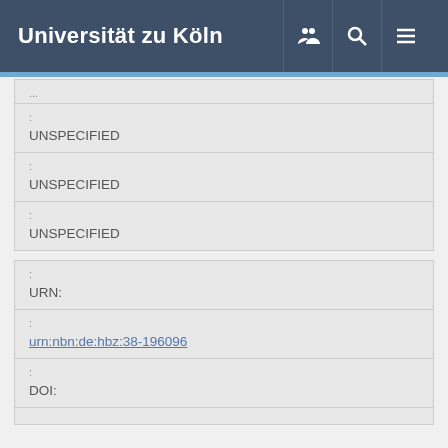Universität zu Köln
| Label | Value |
| --- | --- |
| : | UNSPECIFIED |
| : | UNSPECIFIED |
| : | UNSPECIFIED |
| Label | Value |
| --- | --- |
| : | URN: |
| : | urn:nbn:de:hbz:38-196096 |
| : | DOI: |